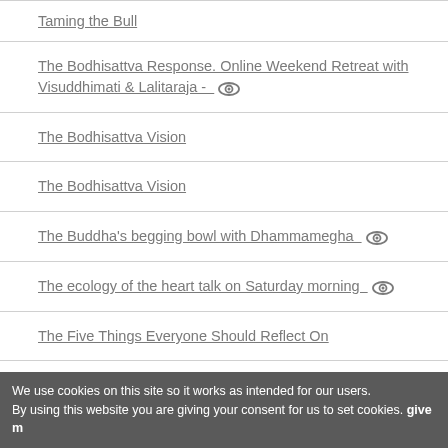Taming the Bull
The Bodhisattva Response. Online Weekend Retreat with Visuddhimati & Lalitaraja -
The Bodhisattva Vision
The Bodhisattva Vision
The Buddha's begging bowl with Dhammamegha
The ecology of the heart talk on Saturday morning
The Five Things Everyone Should Reflect On
The Gift Relationship
We use cookies on this site so it works as intended for our users. By using this website you are giving your consent for us to set cookies. give m